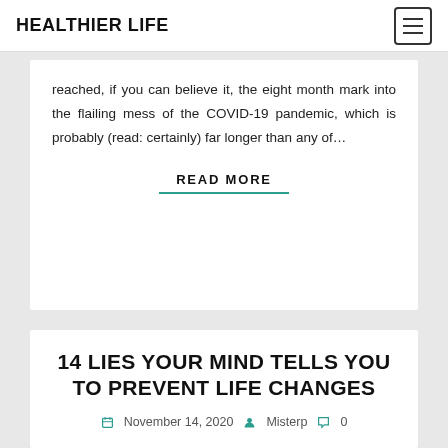HEALTHIER LIFE
reached, if you can believe it, the eight month mark into the flailing mess of the COVID-19 pandemic, which is probably (read: certainly) far longer than any of…
READ MORE
14 LIES YOUR MIND TELLS YOU TO PREVENT LIFE CHANGES
November 14, 2020   Misterp   0